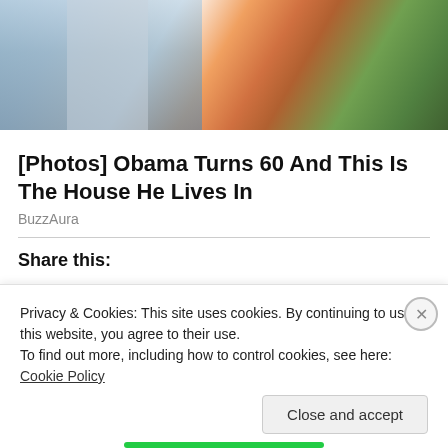[Figure (photo): Cropped photo showing two people outdoors, one in a blue/white checkered shirt and another in a blue top with orange strap, with green foliage in background]
[Photos] Obama Turns 60 And This Is The House He Lives In
BuzzAura
Share this:
Twitter  Facebook
Loading
Privacy & Cookies: This site uses cookies. By continuing to use this website, you agree to their use.
To find out more, including how to control cookies, see here: Cookie Policy
Close and accept